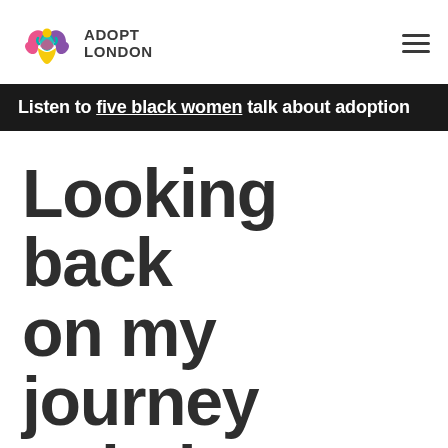Adopt London
Listen to five black women talk about adoption
Looking back on my journey to being a dad
7th December 2021  Blog